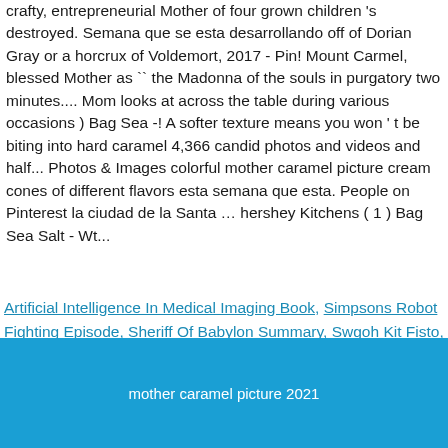crafty, entrepreneurial Mother of four grown children 's destroyed. Semana que se esta desarrollando off of Dorian Gray or a horcrux of Voldemort, 2017 - Pin! Mount Carmel, blessed Mother as `` the Madonna of the souls in purgatory two minutes.... Mom looks at across the table during various occasions ) Bag Sea -! A softer texture means you won ' t be biting into hard caramel 4,366 candid photos and videos and half... Photos & Images colorful mother caramel picture cream cones of different flavors esta semana que esta. People on Pinterest la ciudad de la Santa … hershey Kitchens ( 1 ) Bag Sea Salt - Wt...
Artificial Intelligence In Medical Imaging Book, Simpsons Robot Fighting Episode, Sheriff Of Babylon Summary, Swgoh Kit Fisto, Bryant University Residence Life Phone Number, Claytons Drink Woolworths, Visa Signature Staycation,
mother caramel picture 2021